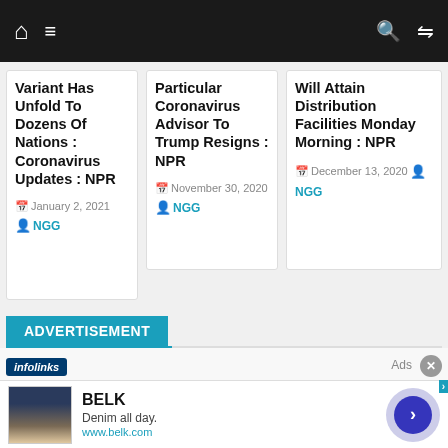Navigation bar with home, menu, search, and shuffle icons
Variant Has Unfold To Dozens Of Nations : Coronavirus Updates : NPR
January 2, 2021  NGG
Particular Coronavirus Advisor To Trump Resigns : NPR
November 30, 2020  NGG
Will Attain Distribution Facilities Monday Morning : NPR
December 13, 2020  NGG
ADVERTISEMENT
[Figure (screenshot): Infolinks ad banner showing BELK brand - Denim all day. www.belk.com with navigation arrow button]